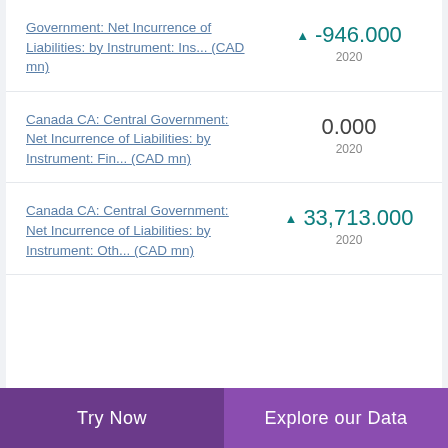Government: Net Incurrence of Liabilities: by Instrument: Ins... (CAD mn)
Canada CA: Central Government: Net Incurrence of Liabilities: by Instrument: Fin... (CAD mn)
Canada CA: Central Government: Net Incurrence of Liabilities: by Instrument: Oth... (CAD mn)
Try Now | Explore our Data